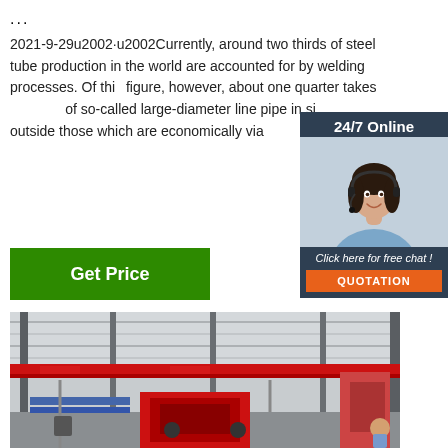...
2021-9-29u2002·u2002Currently, around two thirds of steel tube production in the world are accounted for by welding processes. Of this figure, however, about one quarter takes the form of so-called large-diameter line pipe in sizes outside those which are economically via...
[Figure (photo): Customer service agent with headset, 24/7 Online chat panel with QUOTATION button]
[Figure (photo): Interior of a steel tube manufacturing factory with red overhead cranes and industrial equipment]